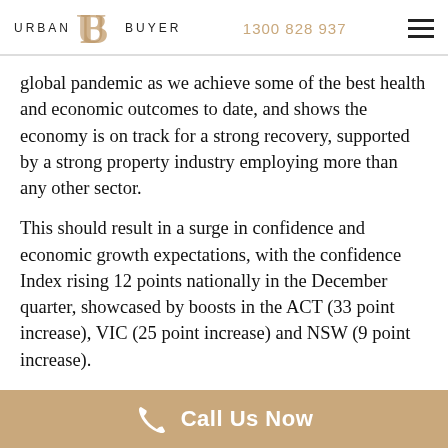URBAN BUYER | 1300 828 937
global pandemic as we achieve some of the best health and economic outcomes to date, and shows the economy is on track for a strong recovery, supported by a strong property industry employing more than any other sector.
This should result in a surge in confidence and economic growth expectations, with the confidence Index rising 12 points nationally in the December quarter, showcased by boosts in the ACT (33 point increase), VIC (25 point increase) and NSW (9 point increase).
“These results show the industry is clearly optimistic about the state of the economy and commercial and residential property markets in the year ahead, having emerged from the challenges COVID impacted last two
Call Us Now